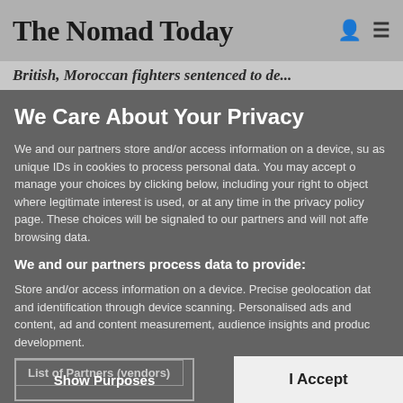The Nomad Today
British, Moroccan fighters sentenced to de...
We Care About Your Privacy
We and our partners store and/or access information on a device, such as unique IDs in cookies to process personal data. You may accept or manage your choices by clicking below, including your right to object where legitimate interest is used, or at any time in the privacy policy page. These choices will be signaled to our partners and will not affect browsing data.
We and our partners process data to provide:
Store and/or access information on a device. Precise geolocation data and identification through device scanning. Personalised ads and content, ad and content measurement, audience insights and product development.
List of Partners (vendors)
Show Purposes
I Accept